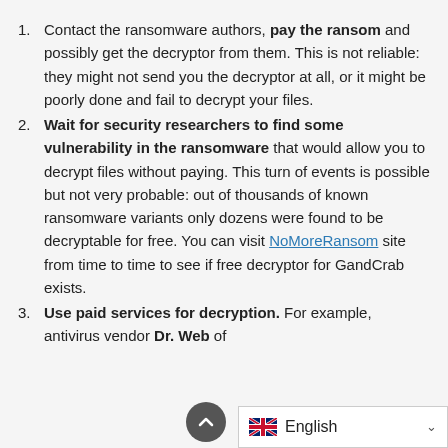Contact the ransomware authors, pay the ransom and possibly get the decryptor from them. This is not reliable: they might not send you the decryptor at all, or it might be poorly done and fail to decrypt your files.
Wait for security researchers to find some vulnerability in the ransomware that would allow you to decrypt files without paying. This turn of events is possible but not very probable: out of thousands of known ransomware variants only dozens were found to be decryptable for free. You can visit NoMoreRansom site from time to time to see if free decryptor for GandCrab exists.
Use paid services for decryption. For example, antivirus vendor Dr. Web of